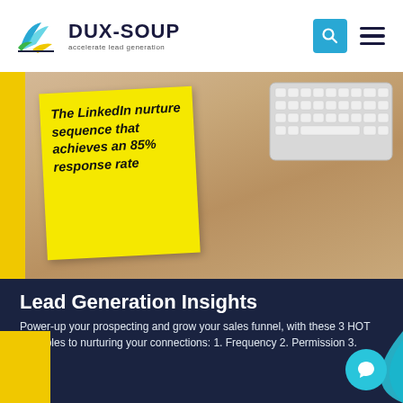DUX-SOUP accelerate lead generation
[Figure (screenshot): Hero image showing a yellow sticky note on a wood surface with a keyboard in the background. The sticky note reads: 'The LinkedIn nurture sequence that achieves an 85% response rate']
Lead Generation Insights
Power-up your prospecting and grow your sales funnel, with these 3 HOT principles to nurturing your connections: 1. Frequency 2. Permission 3. Value